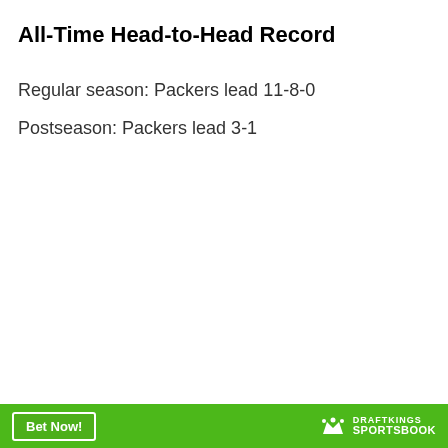All-Time Head-to-Head Record
Regular season: Packers lead 11-8-0
Postseason: Packers lead 3-1
Bet Now! | DRAFTKINGS SPORTSBOOK